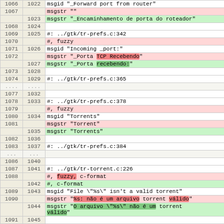| old ln | new ln | content |
| --- | --- | --- |
| 1066 | 1022 | msgid "_Forward port from router" |
| 1067 |  | msgstr "" |
|  | 1023 | msgstr "_Encaminhamento de porta do roteador" |
| 1068 | 1024 |  |
| 1069 | 1025 | #: ../gtk/tr-prefs.c:342 |
| 1070 |  | #, fuzzy |
| 1071 | 1026 | msgid "Incoming _port:" |
| 1072 |  | msgstr "_Porta TCP Recebendo" |
|  | 1027 | msgstr "_Porta recebendo:" |
| 1073 | 1028 |  |
| 1074 | 1029 | #: ../gtk/tr-prefs.c:365 |
| .... | .... |  |
| 1077 | 1032 |  |
| 1078 | 1033 | #: ../gtk/tr-prefs.c:378 |
| 1079 |  | #, fuzzy |
| 1080 | 1034 | msgid "Torrents" |
| 1081 |  | msgstr "Torrent" |
|  | 1035 | msgstr "Torrents" |
| 1082 | 1036 |  |
| 1083 | 1037 | #: ../gtk/tr-prefs.c:384 |
| ... | ... |  |
| 1086 | 1040 |  |
| 1087 | 1041 | #: ../gtk/tr-torrent.c:226 |
| 1088 |  | #, fuzzy, c-format |
|  | 1042 | #, c-format |
| 1089 | 1043 | msgid "File \"%s\" isn't a valid torrent" |
| 1090 |  | msgstr "%s: não é um arquivo torrent válido" |
|  | 1044 | msgstr "O arquivo \"%s\" não é um torrent
válido" |
| 1091 | 1045 |  |
| 1092 | 1046 | #: ../gtk/tr-torrent.c:229 |